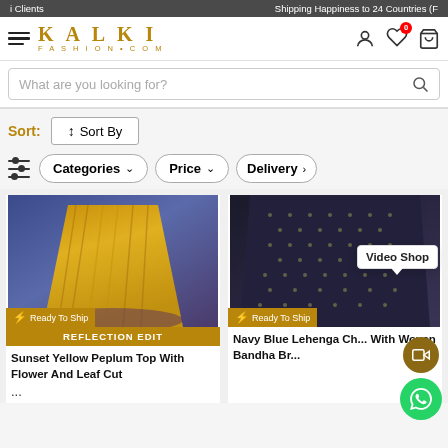i Clients | Shipping Happiness to 24 Countries (F
[Figure (screenshot): Kalki Fashion website navigation bar with hamburger menu, Kalki Fashion logo, user icon, wishlist icon with badge 0, and cart icon]
What are you looking for?
Sort: ↕ Sort By
Categories ∨   Price ∨   Delivery ∨
[Figure (photo): Sunset Yellow Peplum Top with gold/yellow pleated skirt fabric against blue background, Ready To Ship badge, REFLECTION EDIT label]
Sunset Yellow Peplum Top With Flower And Leaf Cut ...
[Figure (photo): Navy Blue Lehenga Choli with woven bandha brocade fabric, Ready To Ship badge, Video Shop popup]
Navy Blue Lehenga Ch... With Woven Bandha Br...